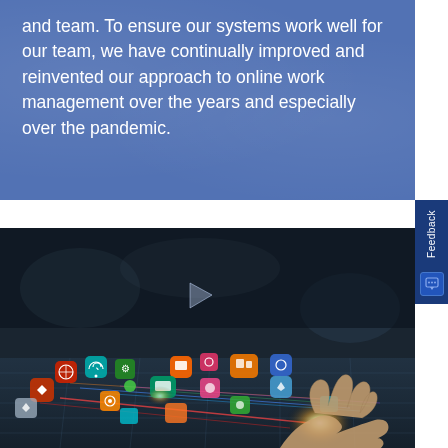and team. To ensure our systems work well for our team, we have continually improved and reinvented our approach to online work management over the years and especially over the pandemic.
[Figure (photo): A hand touching a glowing tablet screen with colorful app icons and light trails radiating outward, representing digital connectivity and online work management tools.]